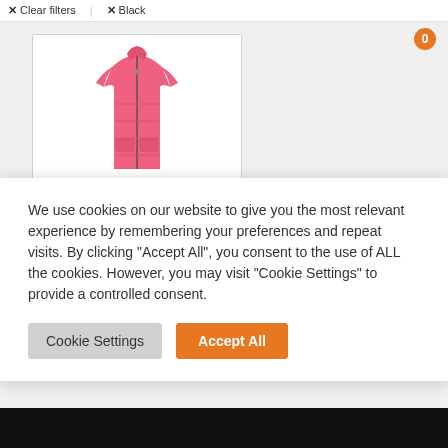✕ Clear filters  ✕ Black
[Figure (photo): Pink/coral sleeveless puffer vest jacket on white background]
We use cookies on our website to give you the most relevant experience by remembering your preferences and repeat visits. By clicking "Accept All", you consent to the use of ALL the cookies. However, you may visit "Cookie Settings" to provide a controlled consent.
Cookie Settings   Accept All
£110.00